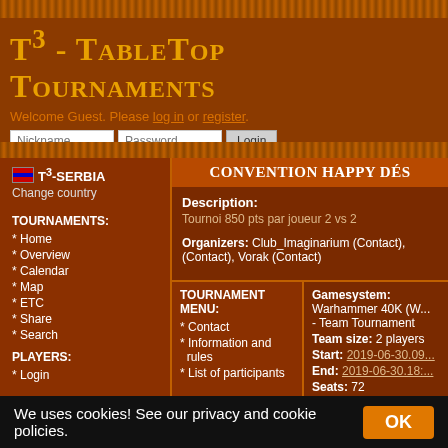T³ - TableTop Tournaments
Welcome Guest. Please log in or register.
Login with nickname/ID and password (Lost password?).
T³-SERBIA
Change country
TOURNAMENTS:
* Home
* Overview
* Calendar
* Map
* ETC
* Share
* Search
PLAYERS:
* Login
Convention Happy Dés
Description:
Tournoi 850 pts par joueur 2 vs 2
Organizers: Club_Imaginarium (Contact), (Contact), Vorak (Contact)
TOURNAMENT MENU:
* Contact
* Information and rules
* List of participants
Gamesystem: Warhammer 40K (W... - Team Tournament
Team size: 2 players
Start: 2019-06-30.09...
End: 2019-06-30.18:...
Seats: 72
We uses cookies! See our privacy and cookie policies.